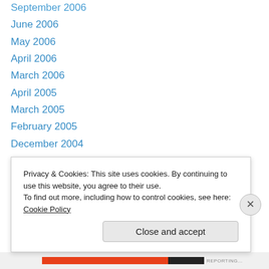September 2006
June 2006
May 2006
April 2006
March 2006
April 2005
March 2005
February 2005
December 2004
November 2004
October 2004
September 2004
August 2004
July 2004
Privacy & Cookies: This site uses cookies. By continuing to use this website, you agree to their use.
To find out more, including how to control cookies, see here: Cookie Policy